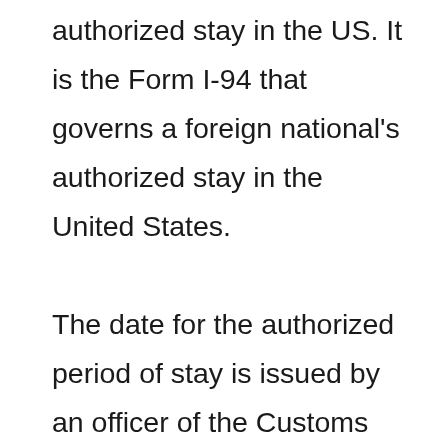authorized stay in the US. It is the Form I-94 that governs a foreign national's authorized stay in the United States.

The date for the authorized period of stay is issued by an officer of the Customs Border Protection on the I-94 record on your entry into the US. The foreign nationals are said